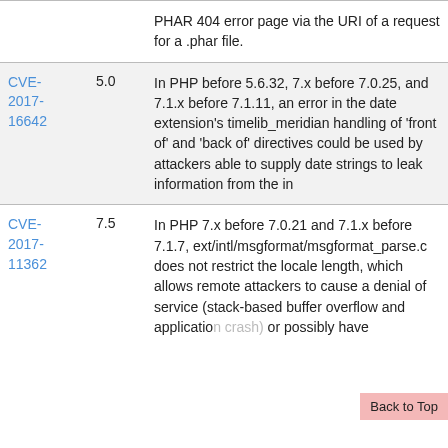| CVE | Score | Description |
| --- | --- | --- |
|  |  | PHAR 404 error page via the URI of a request for a .phar file. |
| CVE-2017-16642 | 5.0 | In PHP before 5.6.32, 7.x before 7.0.25, and 7.1.x before 7.1.11, an error in the date extension's timelib_meridian handling of 'front of' and 'back of' directives could be used by attackers able to supply date strings to leak information from the in |
| CVE-2017-11362 | 7.5 | In PHP 7.x before 7.0.21 and 7.1.x before 7.1.7, ext/intl/msgformat/msgformat_parse.c does not restrict the locale length, which allows remote attackers to cause a denial of service (stack-based buffer overflow and application crash) or possibly have |
Back to Top